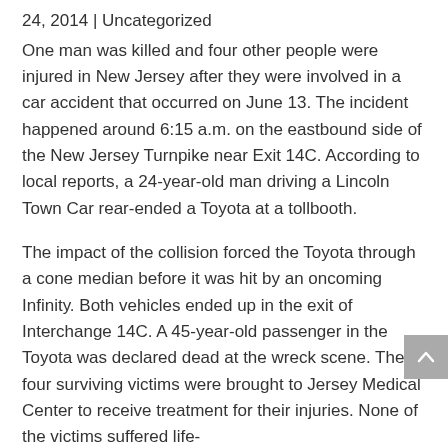24, 2014 | Uncategorized
One man was killed and four other people were injured in New Jersey after they were involved in a car accident that occurred on June 13. The incident happened around 6:15 a.m. on the eastbound side of the New Jersey Turnpike near Exit 14C. According to local reports, a 24-year-old man driving a Lincoln Town Car rear-ended a Toyota at a tollbooth.
The impact of the collision forced the Toyota through a cone median before it was hit by an oncoming Infinity. Both vehicles ended up in the exit of Interchange 14C. A 45-year-old passenger in the Toyota was declared dead at the wreck scene. The four surviving victims were brought to Jersey Medical Center to receive treatment for their injuries. None of the victims suffered life-